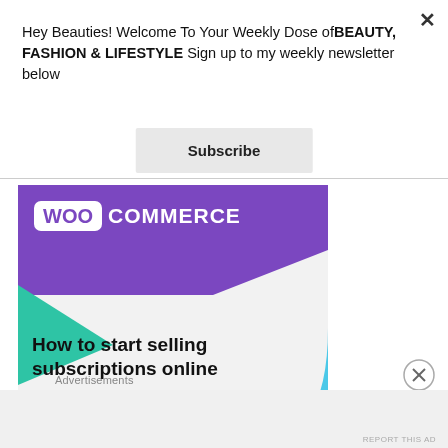Hey Beauties! Welcome To Your Weekly Dose ofBEAUTY, FASHION & LIFESTYLE Sign up to my weekly newsletter below
Subscribe
[Figure (screenshot): WooCommerce advertisement banner showing purple header with WooCommerce logo, green triangle shape, blue curved shape, text 'How to start selling subscriptions online', and a purple 'Start a new store' button]
Advertisements
REPORT THIS AD